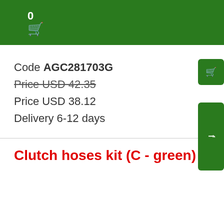0
Code AGC281703G
Price USD 42.35
Price USD 38.12
Delivery 6-12 days
Clutch hoses kit (C - green)